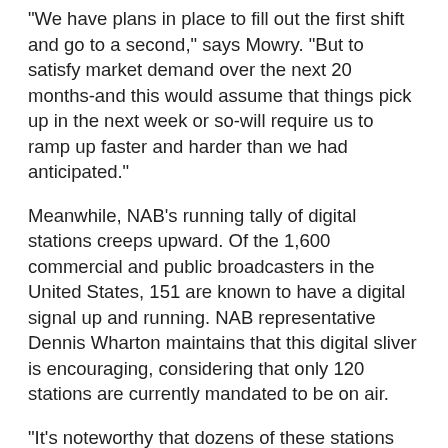"We have plans in place to fill out the first shift and go to a second," says Mowry. "But to satisfy market demand over the next 20 months-and this would assume that things pick up in the next week or so-will require us to ramp up faster and harder than we had anticipated."
Meanwhile, NAB's running tally of digital stations creeps upward. Of the 1,600 commercial and public broadcasters in the United States, 151 are known to have a digital signal up and running. NAB representative Dennis Wharton maintains that this digital sliver is encouraging, considering that only 120 stations are currently mandated to be on air.
"It's noteworthy that dozens of these stations are on, despite the fact they are not required to be," says Wharton. "We are meeting our commitment well